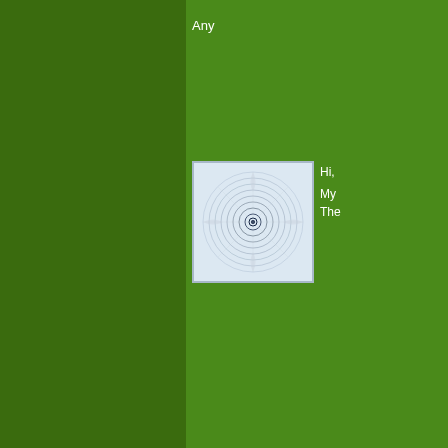Any
[Figure (illustration): Geometric spiral pattern with concentric rings forming a circular design, on a light blue-white background thumbnail image]
Hi,
My
The
The comments to t
Pl
Leek and Potato S everyone in the oni affection for leeks.